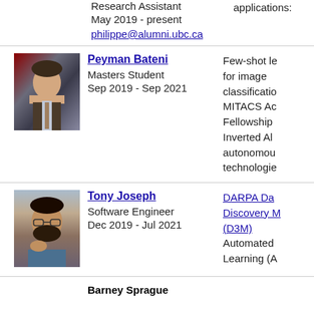Research Assistant
May 2019 - present
philippe@alumni.ubc.ca
applications:
[Figure (photo): Portrait photo of Peyman Bateni]
Peyman Bateni
Masters Student
Sep 2019 - Sep 2021
Few-shot le... for image classificatio... MITACS Ac... Fellowship... Inverted Al... autonomou... technologie...
[Figure (photo): Portrait photo of Tony Joseph]
Tony Joseph
Software Engineer
Dec 2019 - Jul 2021
DARPA Da... Discovery M... (D3M) Automated Learning (A...
Barney Sprague